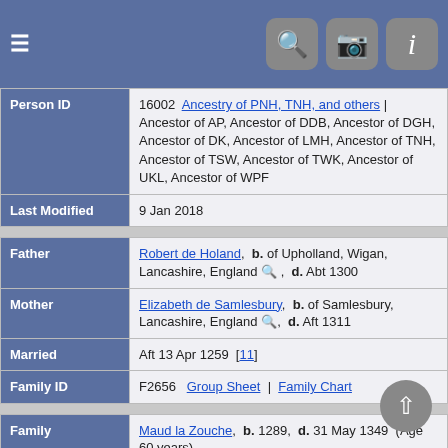| Field | Value |
| --- | --- |
| Person ID | 16002 | Ancestry of PNH, TNH, and others | Ancestor of AP, Ancestor of DDB, Ancestor of DGH, Ancestor of DK, Ancestor of LMH, Ancestor of TNH, Ancestor of TSW, Ancestor of TWK, Ancestor of UKL, Ancestor of WPF |
| Last Modified | 9 Jan 2018 |
| Field | Value |
| --- | --- |
| Father | Robert de Holand, b. of Upholland, Wigan, Lancashire, England, d. Abt 1300 |
| Mother | Elizabeth de Samlesbury, b. of Samlesbury, Lancashire, England, d. Aft 1311 |
| Married | Aft 13 Apr 1259 [11] |
| Family ID | F2656 | Group Sheet | Family Chart |
| Field | Value |
| --- | --- |
| Family | Maud la Zouche, b. 1289, d. 31 May 1349 (Age 60 years) |
| Married | Bef 13 May 1306 [12] |
| Children | ± 1. Elizabeth de Holand, b. of Upholland, Wigan, Lancashire, England, d. 13 Jul 1387, Chewton, Somerset, England |